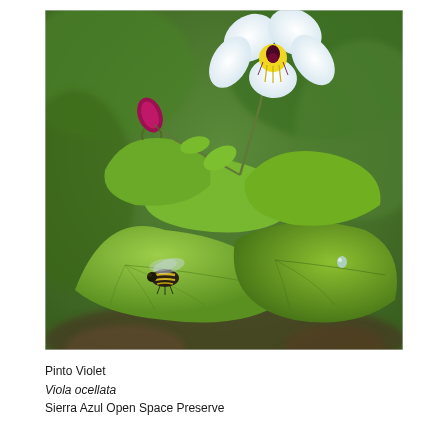[Figure (photo): Close-up nature photo of a Pinto Violet (Viola ocellata) plant with a white five-petaled flower with yellow and dark purple center markings on a slender stem, a magenta flower bud on the left, large bright green leaves, and a hoverfly resting on a lower leaf. Background is blurred green foliage. A water droplet is visible on the right leaf.]
Pinto Violet
Viola ocellata
Sierra Azul Open Space Preserve